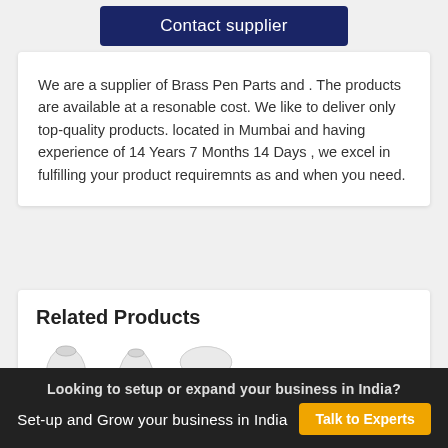Contact supplier
We are a supplier of Brass Pen Parts and . The products are available at a resonable cost. We like to deliver only top-quality products. located in Mumbai and having experience of 14 Years 7 Months 14 Days , we excel in fulfilling your product requiremnts as and when you need.
Related Products
[Figure (photo): Two white pen cap/nib parts shown side by side]
Looking to setup or expand your business in India?
Set-up and Grow your business in India   Talk to Experts